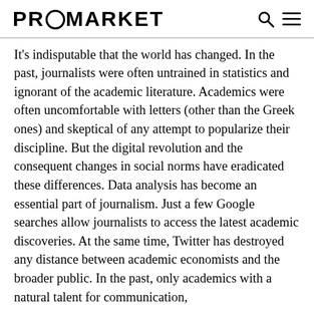PROMARKET
It's indisputable that the world has changed. In the past, journalists were often untrained in statistics and ignorant of the academic literature. Academics were often uncomfortable with letters (other than the Greek ones) and skeptical of any attempt to popularize their discipline. But the digital revolution and the consequent changes in social norms have eradicated these differences. Data analysis has become an essential part of journalism. Just a few Google searches allow journalists to access the latest academic discoveries. At the same time, Twitter has destroyed any distance between academic economists and the broader public. In the past, only academics with a natural talent for communication,